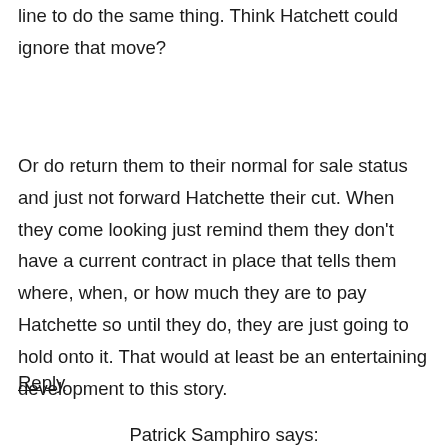line to do the same thing. Think Hatchett could ignore that move?
Or do return them to their normal for sale status and just not forward Hatchette their cut. When they come looking just remind them they don't have a current contract in place that tells them where, when, or how much they are to pay Hatchette so until they do, they are just going to hold onto it. That would at least be an entertaining development to this story.
Reply
Patrick Samphiro says: